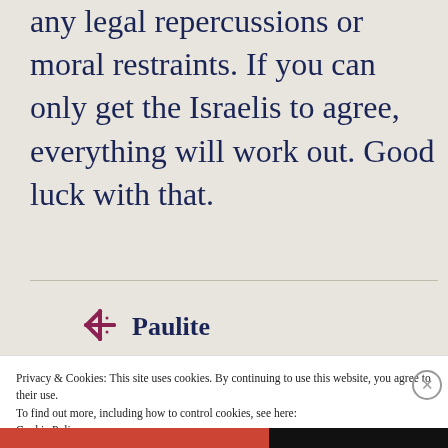any legal repercussions or moral restraints. If you can only get the Israelis to agree, everything will work out. Good luck with that.
[Figure (logo): Paulite blog logo — a purple snowflake/asterisk symbol followed by the bold text 'Paulite']
Privacy & Cookies: This site uses cookies. By continuing to use this website, you agree to their use.
To find out more, including how to control cookies, see here:
Cookie Policy
Close and accept